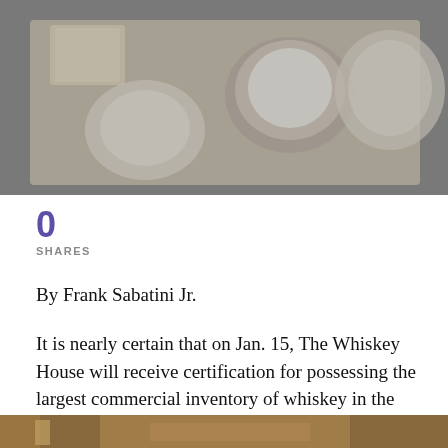[Figure (photo): Overhead shot of food items on a wooden cutting board — bread slices, crab meat, and a round bowl of cream/dip — on a dark background. Image appears slightly faded/greyed.]
0
SHARES
By Frank Sabatini Jr.
It is nearly certain that on Jan. 15, The Whiskey House will receive certification for possessing the largest commercial inventory of whiskey in the world.
[Figure (photo): Partial bottom photo showing what appears to be wooden shelving or bar furniture, partially cut off at bottom of page.]